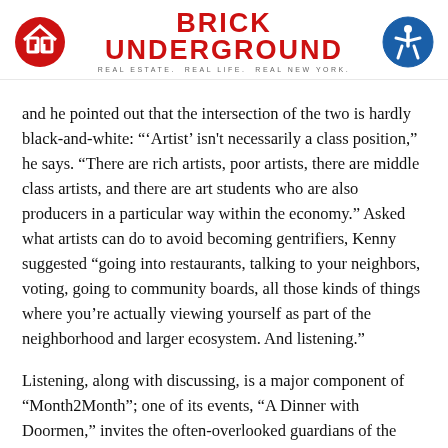Brick Underground — Real Estate. Real Life. Real New York.
and he pointed out that the intersection of the two is hardly black-and-white: "'Artist' isn't necessarily a class position," he says. "There are rich artists, poor artists, there are middle class artists, and there are art students who are also producers in a particular way within the economy." Asked what artists can do to avoid becoming gentrifiers, Kenny suggested “going into restaurants, talking to your neighbors, voting, going to community boards, all those kinds of things where you're actually viewing yourself as part of the neighborhood and larger ecosystem. And listening.”
Listening, along with discussing, is a major component of “Month2Month”; one of its events, “A Dinner with Doormen,” invites the often-overlooked guardians of the city’s residences to share what they have learned on the job about inequality. (Brick Underground has its own version of